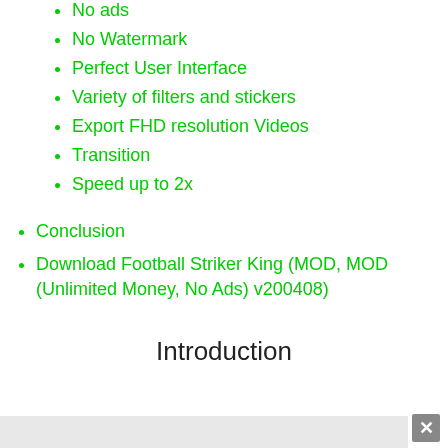No ads
No Watermark
Perfect User Interface
Variety of filters and stickers
Export FHD resolution Videos
Transition
Speed up to 2x
Conclusion
Download Football Striker King (MOD, MOD (Unlimited Money, No Ads) v200408)
Introduction